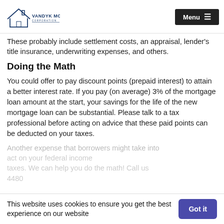VanDyk Mortgage Corporation — Menu
These probably include settlement costs, an appraisal, lender's title insurance, underwriting expenses, and others.
Doing the Math
You could offer to pay discount points (prepaid interest) to attain a better interest rate. If you pay (on average) 3% of the mortgage loan amount at the start, your savings for the life of the new mortgage loan can be substantial. Please talk to a tax professional before acting on advice that these paid points can be deducted on your taxes.
Another expense that borrowers might take into
This website uses cookies to ensure you get the best experience on our website
Got it